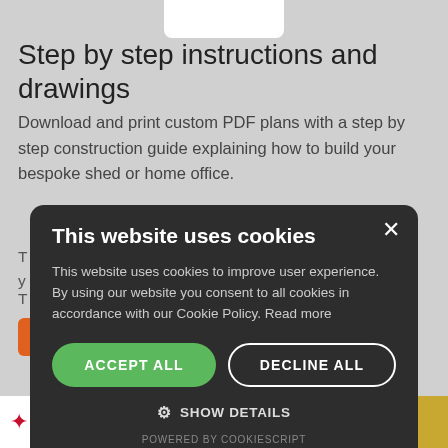[Figure (screenshot): Partial white logo/header area at top center of page]
Step by step instructions and drawings
Download and print custom PDF plans with a step by step construction guide explaining how to build your bespoke shed or home office.
T... e or iPad so y...
T... wn shed.
[Figure (screenshot): Cookie consent modal dialog with dark background. Title: 'This website uses cookies'. Body: 'This website uses cookies to improve user experience. By using our website you consent to all cookies in accordance with our Cookie Policy. Read more'. Buttons: 'ACCEPT ALL' (green), 'DECLINE ALL' (outlined). Below: gear icon with 'SHOW DETAILS'. Footer: 'POWERED BY COOKIESCRIPT'.]
[Figure (logo): Bottom banner showing DIY magazine logo on left (red italic DIY text) and gold WINNER ribbon on right]